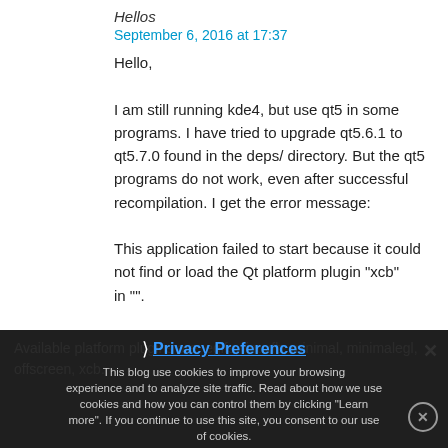Hellos
September 6, 2016 at 17:37
Hello,

I am still running kde4, but use qt5 in some programs. I have tried to upgrade qt5.6.1 to qt5.7.0 found in the deps/ directory. But the qt5 programs do not work, even after successful recompilation. I get the error message:

This application failed to start because it could not find or load the Qt platform plugin "xcb"
in "".
Available platform plugins are: eglfs, linuxfb, minimal, minimalegl, offscreen, xcb.
This blog use cookies to improve your browsing experience and to analyze site traffic. Read about how we use cookies and how you can control them by clicking "Learn more". If you continue to use this site, you consent to our use of cookies.
Privacy Preferences
I Agree